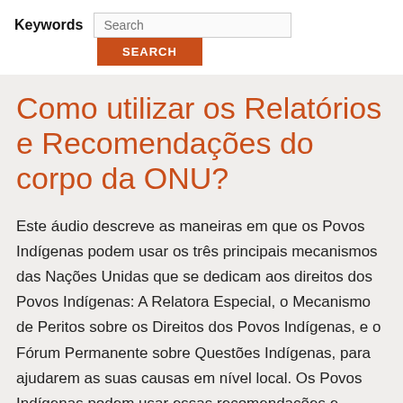Keywords  Search
Como utilizar os Relatórios e Recomendações do corpo da ONU?
Este áudio descreve as maneiras em que os Povos Indígenas podem usar os três principais mecanismos das Nações Unidas que se dedicam aos direitos dos Povos Indígenas: A Relatora Especial, o Mecanismo de Peritos sobre os Direitos dos Povos Indígenas, e o Fórum Permanente sobre Questões Indígenas, para ajudarem as suas causas em nível local. Os Povos Indígenas podem usar essas recomendações e relatórios oficiais, a partir